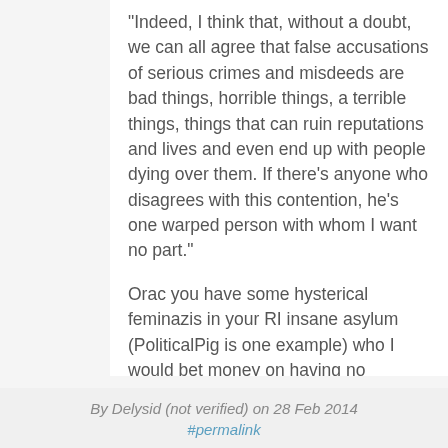"Indeed, I think that, without a doubt, we can all agree that false accusations of serious crimes and misdeeds are bad things, horrible things, a terrible things, things that can ruin reputations and lives and even end up with people dying over them. If there's anyone who disagrees with this contention, he's one warped person with whom I want no part."
Orac you have some hysterical feminazis in your RI insane asylum (PoliticalPig is one example) who I would bet money on having no problem whatsoever with false rape punishment because it punishes men for simply being men. I was getting accused of being a rapist on this anonymous forum simply for being a libertarian.
I'm a man, so I guess that is a Conflict of Interest on this topic.
Log in to post comments
By Delysid (not verified) on 28 Feb 2014
#permalink